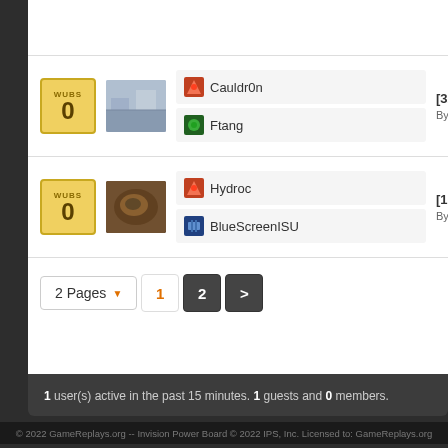WUBS 0 | Cauldr0n vs Ftang | [3217] Ftang vs Ca... By: Brainiac - Added ...
WUBS 0 | Hydroc vs BlueScreenISU | [1.0r] Hydroc vs B... By: Brainiac - Added ...
2 Pages  1  2  >
1 user(s) active in the past 15 minutes. 1 guests and 0 members.
© 2022 GameReplays.org -- Invision Power Board © 2022 IPS, Inc. Licensed to: GameReplays.org